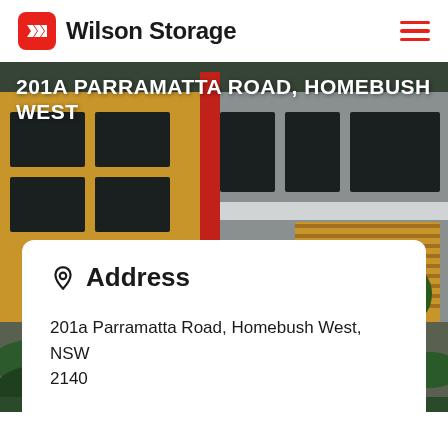Wilson Storage
[Figure (photo): Exterior photo of a Wilson Storage facility building with yellow/gold and grey facade, red column accents, green landscape with bushes and trees in the foreground. Red 'x' cross pattern markings on the pavement.]
201a PARRAMATTA ROAD, HOMEBUSH WEST
Address
201a Parramatta Road, Homebush West, NSW 2140